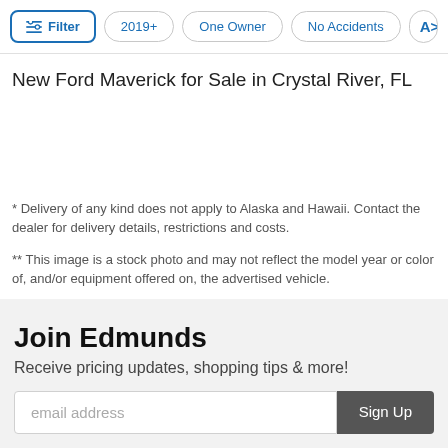Filter | 2019+ | One Owner | No Accidents | A>
New Ford Maverick for Sale in Crystal River, FL
* Delivery of any kind does not apply to Alaska and Hawaii. Contact the dealer for delivery details, restrictions and costs.
** This image is a stock photo and may not reflect the model year or color of, and/or equipment offered on, the advertised vehicle.
Join Edmunds
Receive pricing updates, shopping tips & more!
email address  Sign Up